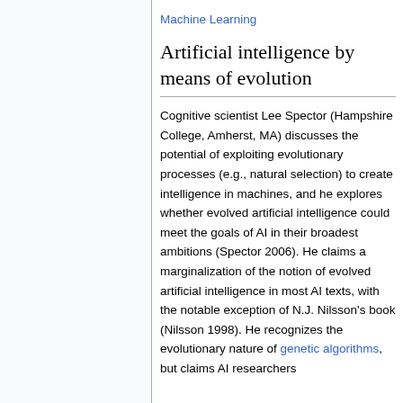Machine Learning
Artificial intelligence by means of evolution
Cognitive scientist Lee Spector (Hampshire College, Amherst, MA) discusses the potential of exploiting evolutionary processes (e.g., natural selection) to create intelligence in machines, and he explores whether evolved artificial intelligence could meet the goals of AI in their broadest ambitions (Spector 2006). He claims a marginalization of the notion of evolved artificial intelligence in most AI texts, with the notable exception of N.J. Nilsson's book (Nilsson 1998). He recognizes the evolutionary nature of genetic algorithms, but claims AI researchers